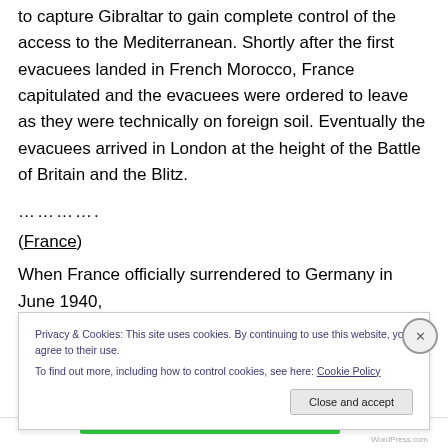to capture Gibraltar to gain complete control of the access to the Mediterranean. Shortly after the first evacuees landed in French Morocco, France capitulated and the evacuees were ordered to leave as they were technically on foreign soil. Eventually the evacuees arrived in London at the height of the Battle of Britain and the Blitz.
…………..
(France)
When France officially surrendered to Germany in June 1940, the country was divided into two. The country…
Privacy & Cookies: This site uses cookies. By continuing to use this website, you agree to their use. To find out more, including how to control cookies, see here: Cookie Policy
Close and accept